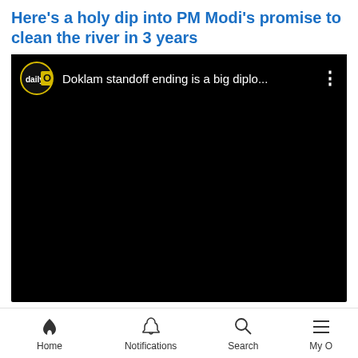Here's a holy dip into PM Modi's promise to clean the river in 3 years
[Figure (screenshot): Embedded YouTube-style video player with black background. Top bar shows 'daily O' channel logo (circle with yellow border and 'O' letter) and video title 'Doklam standoff ending is a big diplo...' with a three-dot menu icon on right.]
Home  Notifications  Search  My O